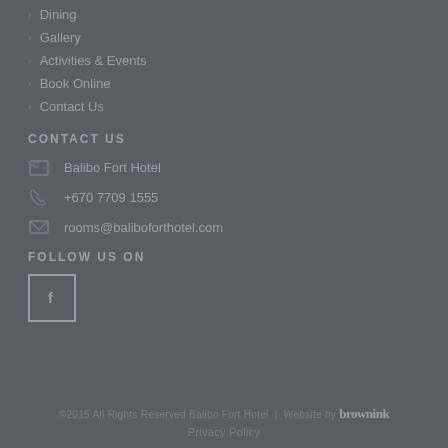Dining
Gallery
Activities & Events
Book Online
Contact Us
CONTACT US
Balibo Fort Hotel
+670 7709 1555
rooms@baliboforthotel.com
FOLLOW US ON
[Figure (illustration): Facebook icon button — square outline with white 'f' logo]
©2015 All Rights Reserved Balibo Fort Hotel | Website by brownink
Privacy Policy